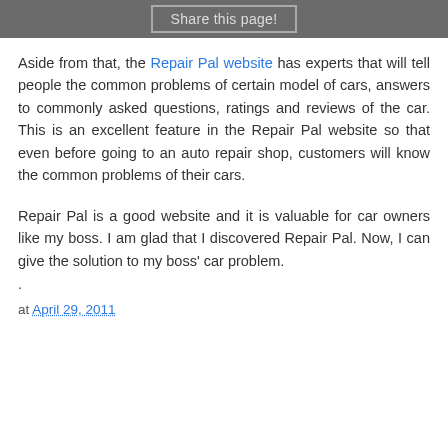Share this page!
Aside from that, the Repair Pal website has experts that will tell people the common problems of certain model of cars, answers to commonly asked questions, ratings and reviews of the car. This is an excellent feature in the Repair Pal website so that even before going to an auto repair shop, customers will know the common problems of their cars.
Repair Pal is a good website and it is valuable for car owners like my boss. I am glad that I discovered Repair Pal. Now, I can give the solution to my boss' car problem.
.
at April 29, 2011